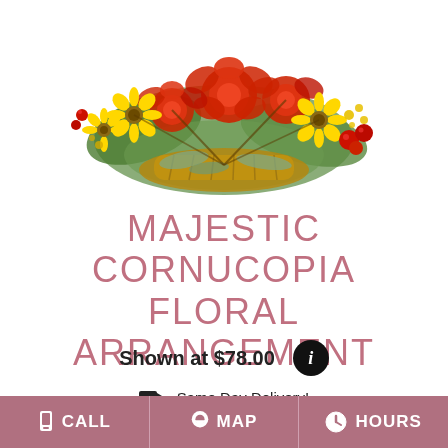[Figure (photo): Floral arrangement with red roses, yellow sunflowers, greenery and red berries in a cornucopia basket]
MAJESTIC CORNUCOPIA FLORAL ARRANGEMENT
Shown at $78.00
Same Day Delivery!
BUY NOW
CALL   MAP   HOURS